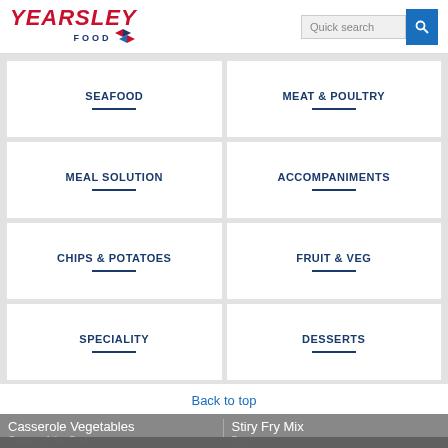[Figure (logo): Yearsley Food logo with red italic text and blue diamond shapes]
Quick search
SEAFOOD
MEAT & POULTRY
MEAL SOLUTION
ACCOMPANIMENTS
CHIPS & POTATOES
FRUIT & VEG
SPECIALITY
DESSERTS
Back to top
Casserole Vegetables
Cream of the Crop
12 x 907g
Stiry Fry Mix
Begro
10 x 1kg
We have updated our privacy policy - please read the full policy or simply accept these changes.